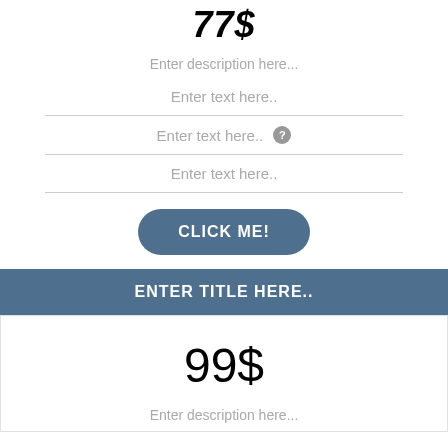77$
Enter description here...
Enter text here..
Enter text here..
Enter text here..
CLICK ME!
ENTER TITLE HERE..
99$
Enter description here...